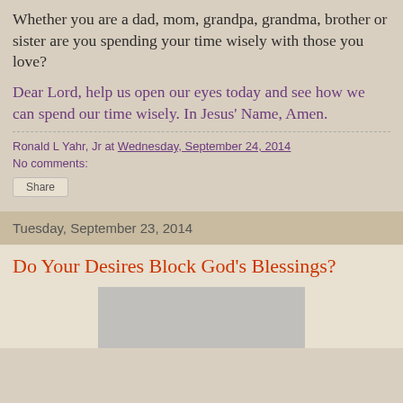Whether you are a dad, mom, grandpa, grandma, brother or sister are you spending your time wisely with those you love?
Dear Lord, help us open our eyes today and see how we can spend our time wisely. In Jesus' Name, Amen.
Ronald L Yahr, Jr at Wednesday, September 24, 2014
No comments:
Share
Tuesday, September 23, 2014
Do Your Desires Block God's Blessings?